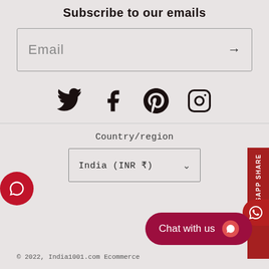Subscribe to our emails
Email →
[Figure (illustration): Social media icons: Twitter, Facebook, Pinterest, Instagram]
Country/region
India (INR ₹)
© 2022, India1001.com Ecommerce
Chat with us
[Figure (illustration): WhatsApp Share sidebar button]
[Figure (illustration): Red chat bubble icon on left edge]